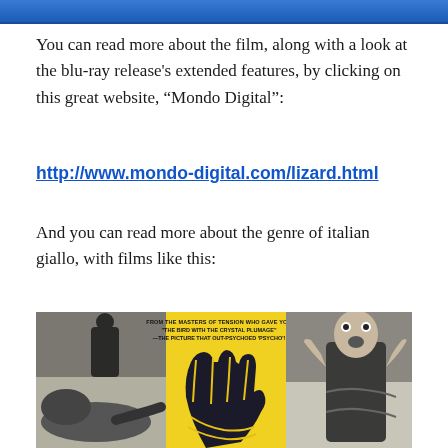[Figure (illustration): Blue gradient bar at top of page, likely blu-ray case top edge]
You can read more about the film, along with a look at the blu-ray release's extended features, by clicking on this great website, “Mondo Digital”:
http://www.mondo-digital.com/lizard.html
And you can read more about the genre of italian giallo, with films like this:
[Figure (photo): Movie poster for an Italian giallo film. Text reads: FROM THE MASTERS OF TENSION WHO GAVE YOU 'THE BIRD WITH THE CRYSTAL PLUMAGE' -THE PICTURE THAT OUT-PSYCHOED 'PSYCHO'! Features a large stylized black hand on yellow background, with black-and-white film stills on either side showing dramatic scenes.]